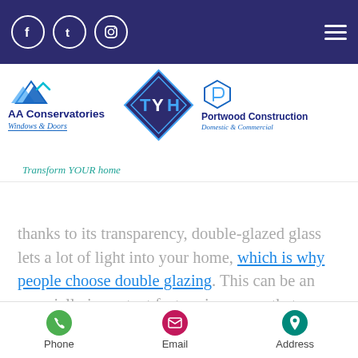Navigation bar with social icons (Facebook, Tumblr, Instagram) and hamburger menu
[Figure (logo): AA Conservatories Windows & Doors logo, TYH diamond logo, Portwood Construction Domestic & Commercial logo, tagline: Transform YOUR home]
thanks to its transparency, double-glazed glass lets a lot of light into your home, which is why people choose double glazing. This can be an especially important feature in a room that doesn't have much light opportunity naturally or enhance an already well-positioned room. Not only does it mean you can use natural light during your day, but it also means you don't have to turn
Phone | Email | Address